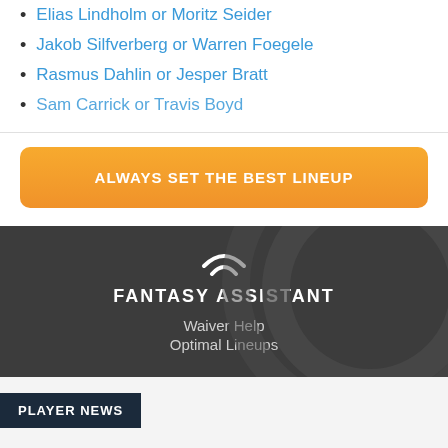Elias Lindholm or Moritz Seider
Jakob Silfverberg or Warren Foegele
Rasmus Dahlin or Jesper Bratt
Sam Carrick or Travis Boyd
ALWAYS SET THE BEST LINEUP
FANTASY ASSISTANT
Waiver Help
Optimal Lineups
PLAYER NEWS
ALL  NFL  MLB  NBA  NHL